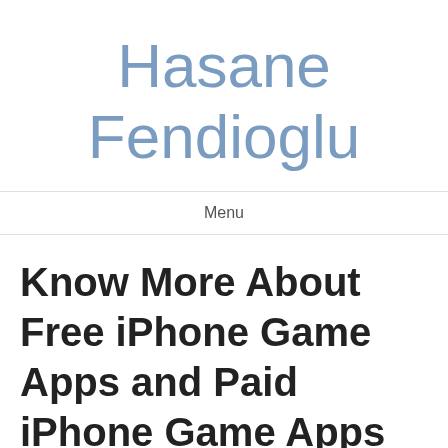Hasane Fendioglu
Menu
Know More About Free iPhone Game Apps and Paid iPhone Game Apps